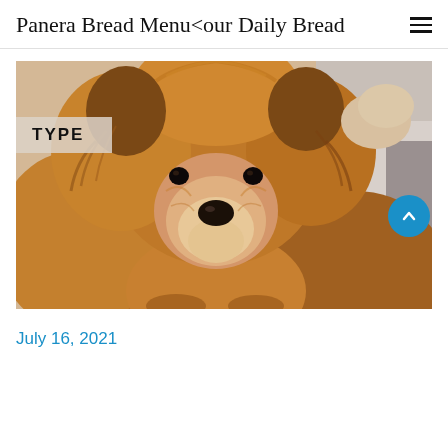Panera Bread Menu<our Daily Bread
[Figure (photo): Close-up photograph of a fluffy Chow Chow dog with reddish-brown fur, facing the camera, with a blurred light background. A badge reading 'TYPE' is overlaid on the lower-left of the image.]
July 16, 2021